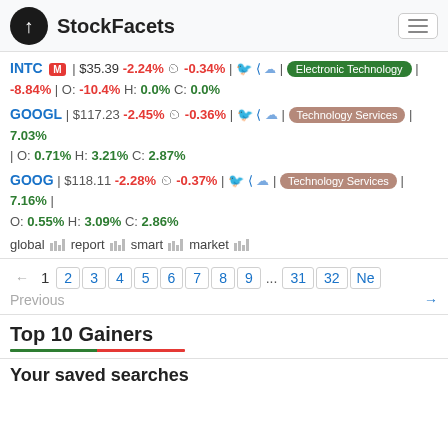StockFacets
INTC M | $35.39 -2.24% ⊙ -0.34% | Electronic Technology | -8.84% | O: -10.4% H: 0.0% C: 0.0%
GOOGL | $117.23 -2.45% ⊙ -0.36% | Technology Services | 7.03% | O: 0.71% H: 3.21% C: 2.87%
GOOG | $118.11 -2.28% ⊙ -0.37% | Technology Services | 7.16% | O: 0.55% H: 3.09% C: 2.86%
global report smart market
← 1 2 3 4 5 6 7 8 9 ... 31 32 Ne  Previous →
Top 10 Gainers
Your saved searches